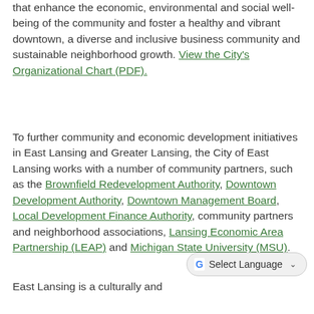that enhance the economic, environmental and social well-being of the community and foster a healthy and vibrant downtown, a diverse and inclusive business community and sustainable neighborhood growth. View the City's Organizational Chart (PDF).
To further community and economic development initiatives in East Lansing and Greater Lansing, the City of East Lansing works with a number of community partners, such as the Brownfield Redevelopment Authority, Downtown Development Authority, Downtown Management Board, Local Development Finance Authority, community partners and neighborhood associations, Lansing Economic Area Partnership (LEAP) and Michigan State University (MSU).
East Lansing is a culturally and